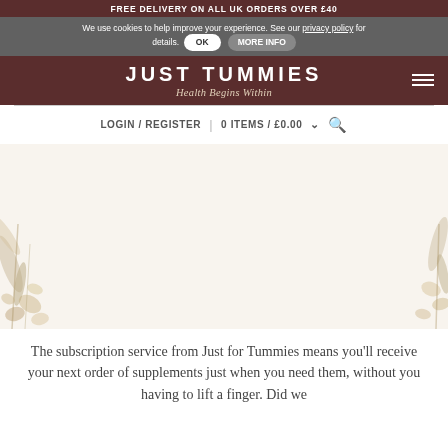FREE DELIVERY ON ALL UK ORDERS OVER £40
We use cookies to help improve your experience. See our privacy policy for details. OK MORE INFO
JUST TUMMIES
Health Begins Within
LOGIN / REGISTER | 0 ITEMS / £0.00
[Figure (photo): Floral and botanical decorative image with dried flowers and plant elements on a light cream background]
The subscription service from Just for Tummies means you'll receive your next order of supplements just when you need them, without you having to lift a finger. Did we